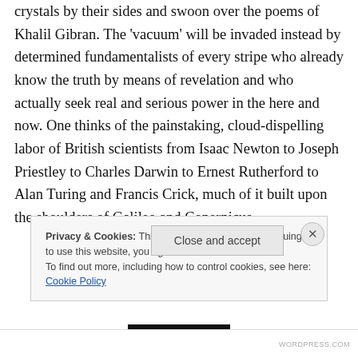crystals by their sides and swoon over the poems of Khalil Gibran. The 'vacuum' will be invaded instead by determined fundamentalists of every stripe who already know the truth by means of revelation and who actually seek real and serious power in the here and now. One thinks of the painstaking, cloud-dispelling labor of British scientists from Isaac Newton to Joseph Priestley to Charles Darwin to Ernest Rutherford to Alan Turing and Francis Crick, much of it built upon the shoulders of Galileo and Copernicus,
Privacy & Cookies: This site uses cookies. By continuing to use this website, you agree to their use.
To find out more, including how to control cookies, see here: Cookie Policy
Close and accept